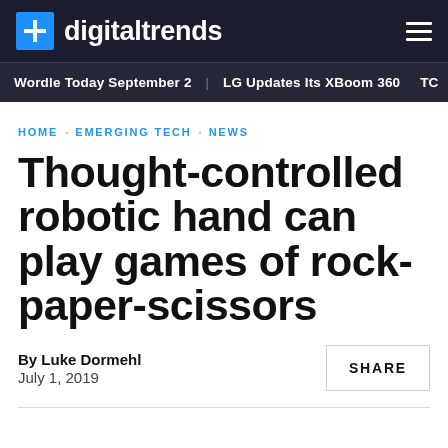+ digitaltrends
Wordle Today September 2  LG Updates Its XBoom 360  TC
HOME · EMERGING TECH · NEWS
Thought-controlled robotic hand can play games of rock-paper-scissors
By Luke Dormehl
July 1, 2019